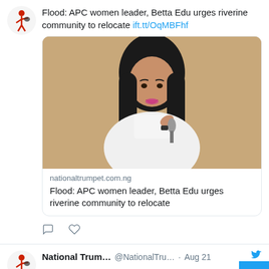Flood: APC women leader, Betta Edu urges riverine community to relocate ift.tt/OqMBFhf
[Figure (photo): Woman in white blazer speaking into a microphone, long black hair, speaking at an event]
nationaltrumpet.com.ng
Flood: APC women leader, Betta Edu urges riverine community to relocate
National Trum... @NationalTru... · Aug 21
2023 Presidency: Breach of power rotation will cripple Atiku's last bid – Okechukwu ift.tt/vB2VqB